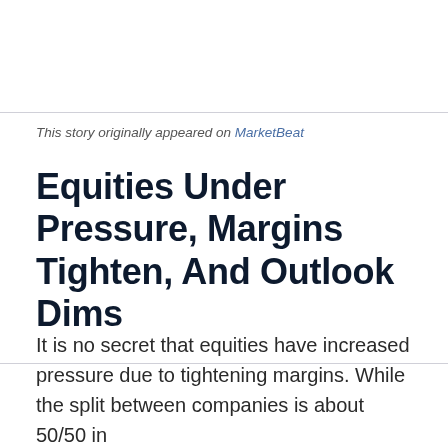This story originally appeared on MarketBeat
Equities Under Pressure, Margins Tighten, And Outlook Dims
It is no secret that equities have increased pressure due to tightening margins. While the split between companies is about 50/50 in